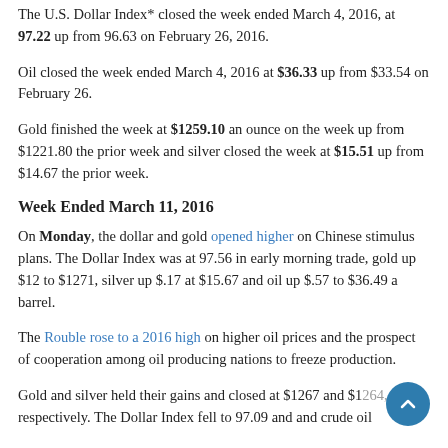The U.S. Dollar Index* closed the week ended March 4, 2016, at 97.22 up from 96.63 on February 26, 2016.
Oil closed the week ended March 4, 2016 at $36.33 up from $33.54 on February 26.
Gold finished the week at $1259.10 an ounce on the week up from $1221.80 the prior week and silver closed the week at $15.51 up from $14.67 the prior week.
Week Ended March 11, 2016
On Monday, the dollar and gold opened higher on Chinese stimulus plans. The Dollar Index was at 97.56 in early morning trade, gold up $12 to $1271, silver up $.17 at $15.67 and oil up $.57 to $36.49 a barrel.
The Rouble rose to a 2016 high on higher oil prices and the prospect of cooperation among oil producing nations to freeze production.
Gold and silver held their gains and closed at $1267 and $1264, respectively. The Dollar Index fell to 97.09 and and crude oil